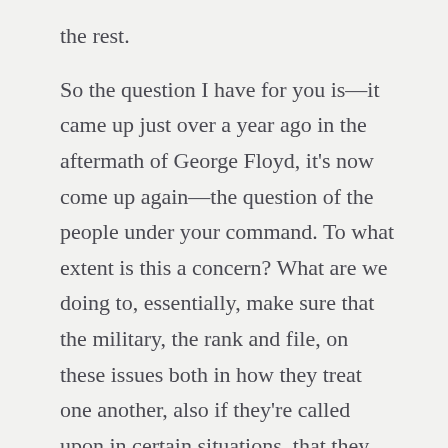the rest.
So the question I have for you is—it came up just over a year ago in the aftermath of George Floyd, it's now come up again—the question of the people under your command. To what extent is this a concern? What are we doing to, essentially, make sure that the military, the rank and file, on these issues both in how they treat one another, also if they're called upon in certain situations, that they maintain the kind of professionalism and discipline they have to?
What is your sense of whether this is an issue that is—you know, is, rightfully, a concern or that this is something that's, essentially, it's where it should